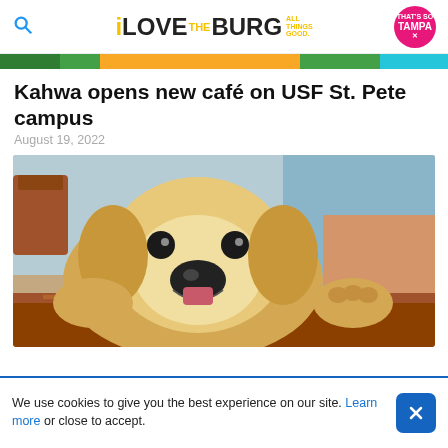iLOVE THE BURG ALL THINGS GOOD.
[Figure (photo): Thin horizontal strip image of a café interior, partially visible at top of page]
Kahwa opens new café on USF St. Pete campus
August 19, 2022
[Figure (photo): A golden retriever dog resting its paws and chin on a wooden table inside a café, looking at the camera with mouth slightly open. A person in a blue shirt is visible in the background along with wooden chairs.]
We use cookies to give you the best experience on our site. Learn more or close to accept.